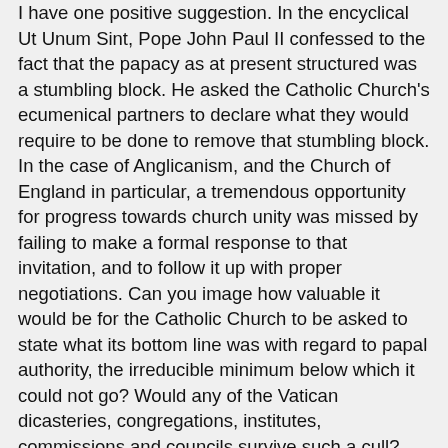I have one positive suggestion. In the encyclical Ut Unum Sint, Pope John Paul II confessed to the fact that the papacy as at present structured was a stumbling block. He asked the Catholic Church's ecumenical partners to declare what they would require to be done to remove that stumbling block. In the case of Anglicanism, and the Church of England in particular, a tremendous opportunity for progress towards church unity was missed by failing to make a formal response to that invitation, and to follow it up with proper negotiations. Can you image how valuable it would be for the Catholic Church to be asked to state what its bottom line was with regard to papal authority, the irreducible minimum below which it could not go? Would any of the Vatican dicasteries, congregations, institutes, commissions and councils survive such a cull?
An opportunity missed, but maybe it will come back some day. But what is still extraordinary is the transformation of the climate of ecumenical relations, the friendly feelings, the mutual respect,